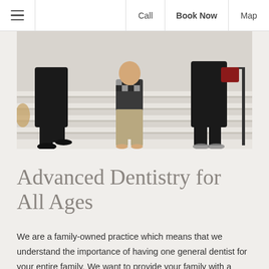≡   Call   Book Now   Map
[Figure (photo): A family sitting on white brick steps. Adults in black clothing with children between them. One child wearing a checkered shirt and khaki pants sits in the middle.]
Advanced Dentistry for All Ages
We are a family-owned practice which means that we understand the importance of having one general dentist for your entire family. We want to provide your family with a convenient location and friendly team you can